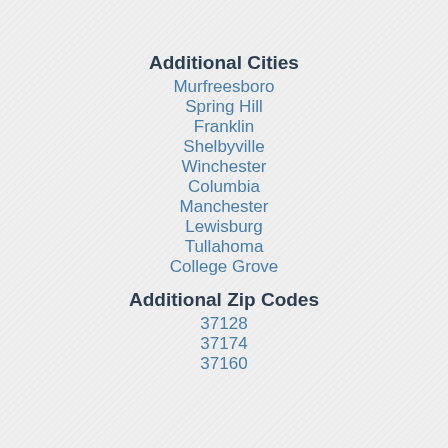Additional Cities
Murfreesboro
Spring Hill
Franklin
Shelbyville
Winchester
Columbia
Manchester
Lewisburg
Tullahoma
College Grove
Additional Zip Codes
37128
37174
37160